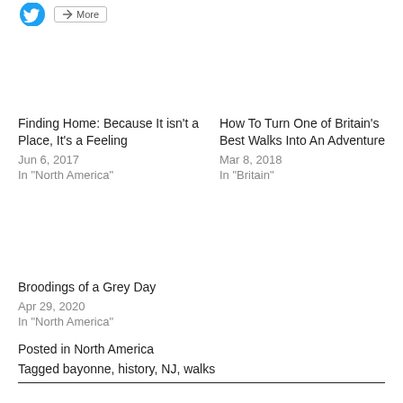[Figure (logo): Twitter bird icon (blue) and a 'More' button with share icon]
Finding Home: Because It isn't a Place, It's a Feeling
Jun 6, 2017
In "North America"
How To Turn One of Britain's Best Walks Into An Adventure
Mar 8, 2018
In "Britain"
Broodings of a Grey Day
Apr 29, 2020
In "North America"
Posted in North America
Tagged bayonne, history, NJ, walks